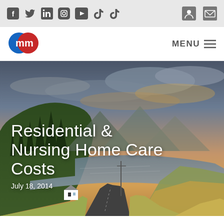Social media icons: Facebook, Twitter, LinkedIn, Instagram, YouTube, TikTok, TikTok | Contact icons: Profile, Email
[Figure (logo): mm logo — two overlapping circles, blue and red, each containing a lowercase white 'm']
MENU ≡
[Figure (photo): Scenic Scottish highlands landscape: a winding rural road leading toward a loch (lake) with mountains in the background under a dramatic cloudy sky at dusk. A white cottage sits beside the road on the left.]
Residential & Nursing Home Care Costs
July 18, 2014